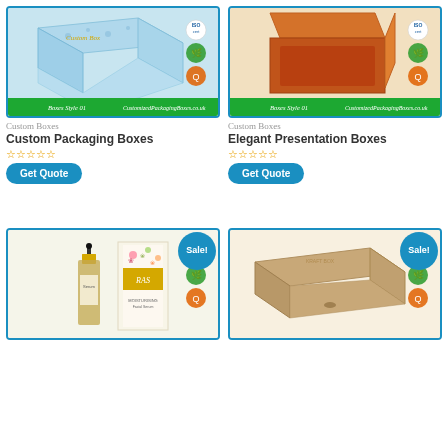[Figure (photo): Custom packaging box - light blue gift box with decorative pattern, shown with green/ISO certification badges, banner at bottom reads 'Boxes Style 01 CustomizedPackagingBoxes.co.uk']
Custom Boxes
Custom Packaging Boxes
[Figure (other): Five empty star rating icons in orange/yellow]
Get Quote
[Figure (photo): Elegant orange drawer presentation box shown open at an angle, with green/ISO certification badges, banner at bottom reads 'Boxes Style 01 CustomizedPackagingBoxes.co.uk']
Custom Boxes
Elegant Presentation Boxes
[Figure (other): Five empty star rating icons in orange/yellow]
Get Quote
[Figure (photo): Essential oil dropper bottle with floral box packaging labeled 'RAS', shown with green/ISO certification badges. Sale badge in blue circle top right.]
[Figure (photo): Brown kraft cardboard mailer box, shown with green/ISO certification badges. Sale badge in blue circle top right.]